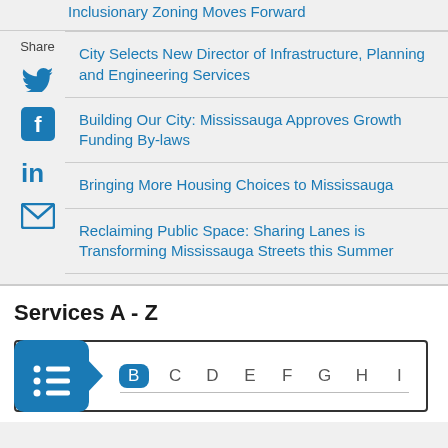Inclusionary Zoning Moves Forward
City Selects New Director of Infrastructure, Planning and Engineering Services
Building Our City: Mississauga Approves Growth Funding By-laws
Bringing More Housing Choices to Mississauga
Reclaiming Public Space: Sharing Lanes is Transforming Mississauga Streets this Summer
Services A - Z
[Figure (infographic): Services A-Z navigation bar with blue list icon and alphabet letters B C D E F G H I]